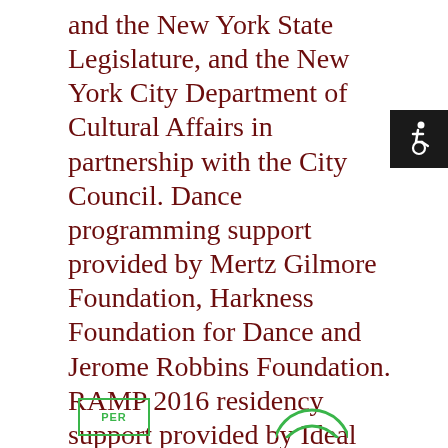and the New York State Legislature, and the New York City Department of Cultural Affairs in partnership with the City Council. Dance programming support provided by Mertz Gilmore Foundation, Harkness Foundation for Dance and Jerome Robbins Foundation. RAMP 2016 residency support provided by Ideal Glass Gallery and miLES.
[Figure (other): Accessibility icon (wheelchair symbol) in white on black background square]
[Figure (logo): PER text badge with green border]
[Figure (logo): Green circular logo partially visible at bottom right]